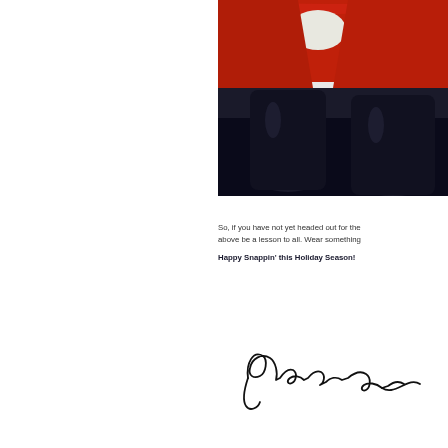[Figure (photo): Lower body of a person dressed as Santa Claus, wearing a red suit with white trim and shiny black boots, against a dark background]
So, if you have not yet headed out for the above be a lesson to all. Wear something
Happy Snappin' this Holiday Season!
[Figure (illustration): Handwritten cursive signature reading 'Jamie Poth' or similar]